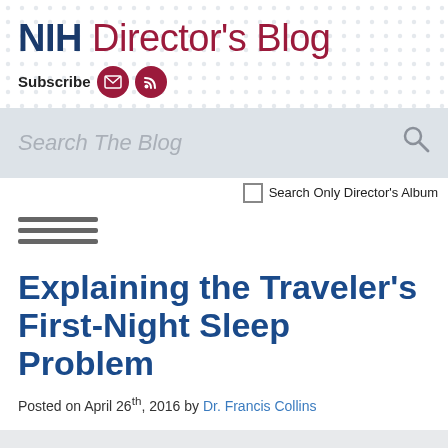NIH Director's Blog
Subscribe
[Figure (screenshot): Search box with placeholder text 'Search The Blog' and a search icon on the right, on a light gray background]
Search Only Director's Album
[Figure (other): Hamburger menu icon with three horizontal lines]
Explaining the Traveler's First-Night Sleep Problem
Posted on April 26th, 2016 by Dr. Francis Collins